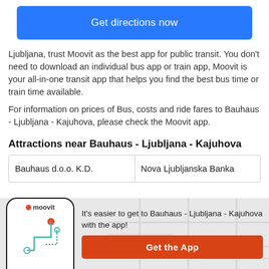Get directions now
Ljubljana, trust Moovit as the best app for public transit. You don't need to download an individual bus app or train app, Moovit is your all-in-one transit app that helps you find the best bus time or train time available.
For information on prices of Bus, costs and ride fares to Bauhaus - Ljubljana - Kajuhova, please check the Moovit app.
Attractions near Bauhaus - Ljubljana - Kajuhova
| Bauhaus d.o.o. K.D. | Nova Ljubljanska Banka |
It's easier to get to Bauhaus - Ljubljana - Kajuhova with the app!
Get the App